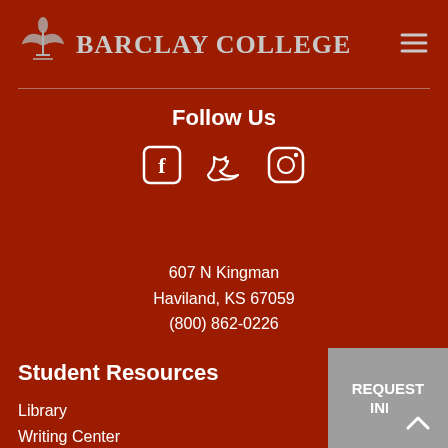[Figure (logo): Barclay College logo with bird/dove emblem and text 'Barclay College' in gray on dark red background]
Follow Us
[Figure (illustration): Social media icons: Facebook, Twitter, Instagram — outlined in white on dark red background]
607 N Kingman
Haviland, KS 67059
(800) 862-0226
Student Resources
Library
Writing Center